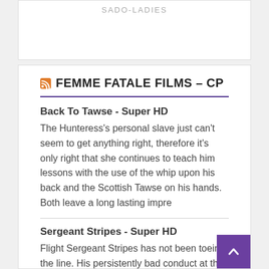SADO-LADIES
FEMME FATALE FILMS – CP
Back To Tawse - Super HD
The Hunteress's personal slave just can't seem to get anything right, therefore it's only right that she continues to teach him lessons with the use of the whip upon his back and the Scottish Tawse on his hands. Both leave a long lasting impre
Sergeant Stripes - Super HD
Flight Sergeant Stripes has not been toeing the line. His persistently bad conduct at the POW camp has got him into very deep water. He will be made an